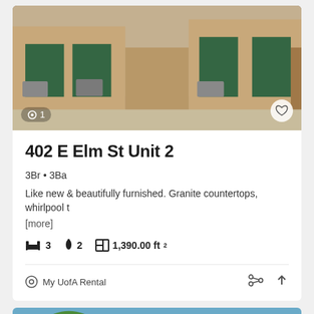[Figure (photo): Exterior photo of a tan/adobe style building with green window frames and AC units outside. Photo counter showing '1' in bottom left corner, heart/favorite icon in bottom right.]
402 E Elm St Unit 2
3Br • 3Ba
Like new & beautifully furnished. Granite countertops, whirlpool t
[more]
🛏 3   💧 2   📋 1,390.00 ft²
⊙ My UofA Rental
[Figure (photo): Exterior photo of a two-story southwestern/Spanish style house with terracotta tile roof, blue sky and trees visible. Star icon overlay in top left. 'CALL FOR AVAILABILITY' banner in top right. Email and up-arrow floating action buttons in bottom right.]